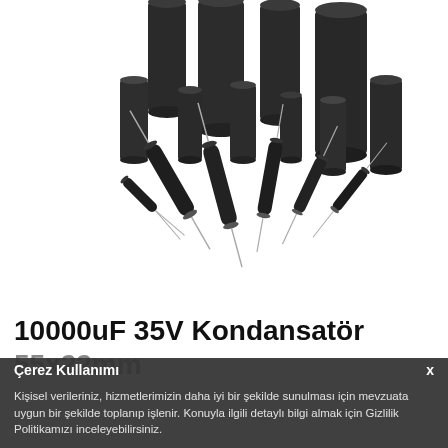[Figure (photo): Product photo showing a variety of electrolytic capacitors of different sizes arranged on a white background, ranging from large cylindrical types to small axial/radial types.]
10000uF 35V Kondansatör
55x22mm
Çerez Kullanımı
Kişisel verileriniz, hizmetlerimizin daha iyi bir şekilde sunulması için mevzuata uygun bir şekilde toplanıp işlenir. Konuyla ilgili detaylı bilgi almak için Gizlilik Politikamızı inceleyebilirsiniz.